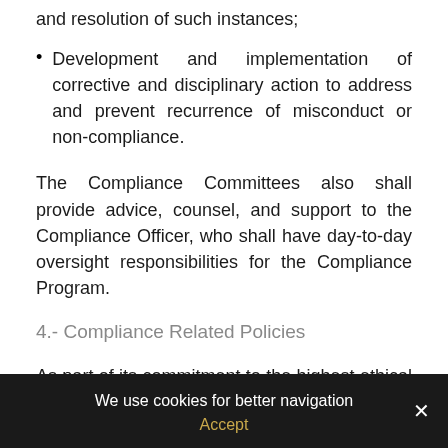Development and implementation of corrective and disciplinary action to address and prevent recurrence of misconduct or non-compliance.
The Compliance Committees also shall provide advice, counsel, and support to the Compliance Officer, who shall have day-to-day oversight responsibilities for the Compliance Program.
4.- Compliance Related Policies
As part of its commitment to the highest ethical standards of business conduct, the Company will implement corporate standards and requirements that may be consistent with that obligation and are specific to the Company's operations and the evolving business and regulatory environment.
We use cookies for better navigation
Accept